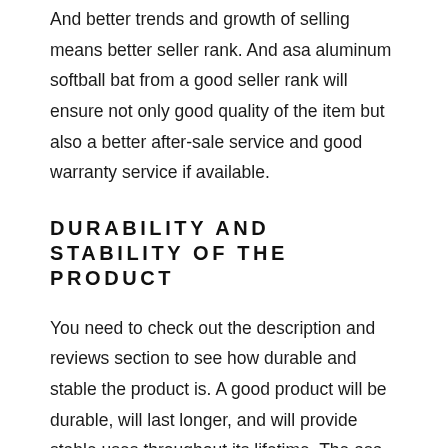And better trends and growth of selling means better seller rank. And asa aluminum softball bat from a good seller rank will ensure not only good quality of the item but also a better after-sale service and good warranty service if available.
DURABILITY AND STABILITY OF THE PRODUCT
You need to check out the description and reviews section to see how durable and stable the product is. A good product will be durable, will last longer, and will provide stable uses throughout its lifetime. The asa aluminum softball bat we have suggested have mostly been made in a way to last longer with